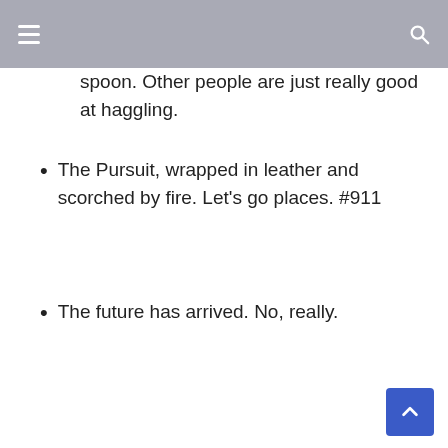spoon. Other people are just really good at haggling.
The Pursuit, wrapped in leather and scorched by fire. Let's go places. #911
The future has arrived. No, really.